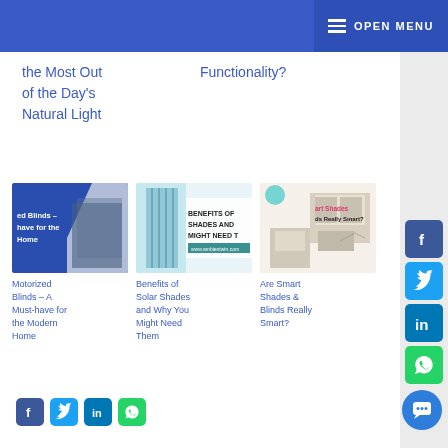OPEN MENU
the Most Out of the Day's Natural Light
Functionality?
[Figure (photo): Motorized Blinds article thumbnail - blue background with text 'ed Blinds – have for the Home']
Motorized Blinds – A Must-have for the Modern Home
[Figure (photo): Benefits of Solar Shades article thumbnail showing sliding glass door and text 'BENEFITS OF SHADES AND MIGHT NEED T']
Benefits of Solar Shades and Why You Might Need Them
[Figure (photo): Are Smart Shades article thumbnail showing living room with text 'art Shades ds Really Smart?']
Are Smart Shades & Blinds Really Smart?